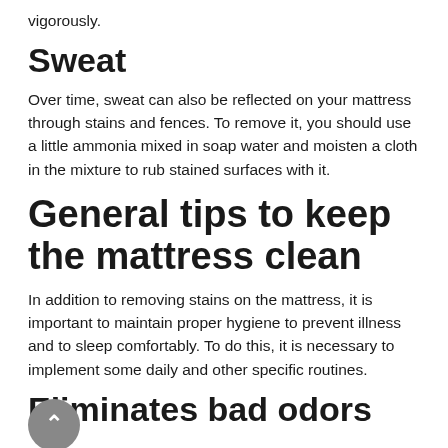vigorously.
Sweat
Over time, sweat can also be reflected on your mattress through stains and fences. To remove it, you should use a little ammonia mixed in soap water and moisten a cloth in the mixture to rub stained surfaces with it.
General tips to keep the mattress clean
In addition to removing stains on the mattress, it is important to maintain proper hygiene to prevent illness and to sleep comfortably. To do this, it is necessary to implement some daily and other specific routines.
Eliminates bad odors